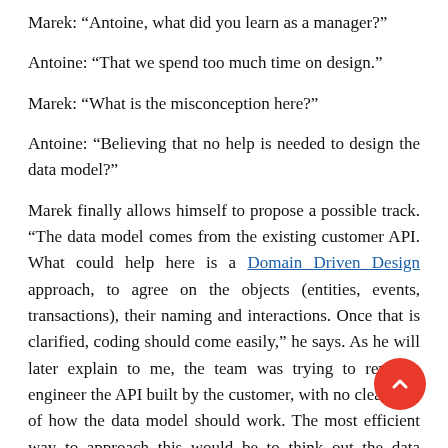Marek: “Antoine, what did you learn as a manager?”
Antoine: “That we spend too much time on design.”
Marek: “What is the misconception here?”
Antoine: “Believing that no help is needed to design the data model?”
Marek finally allows himself to propose a possible track. “The data model comes from the existing customer API. What could help here is a Domain Driven Design approach, to agree on the objects (entities, events, transactions), their naming and interactions. Once that is clarified, coding should come easily,” he says. As he will later explain to me, the team was trying to reverse-engineer the API built by the customer, with no clear idea of how the data model should work. The most efficient way to approach this would be to think out the data model they need from with a DDD approach, and then go to the legacy API and pull the data information from it.